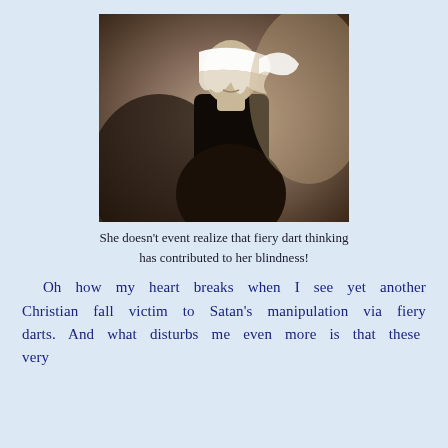[Figure (photo): Sepia-toned artistic photograph of a person with a white cloth wrapped around their head covering their eyes, wearing dark clothing, against a blurred background — symbolizing blindness]
She doesn't event realize that fiery dart thinking has contributed to her blindness!
Oh how my heart breaks when I see yet another Christian fall victim to Satan's manipulation via fiery darts. And what disturbs me even more is that these very